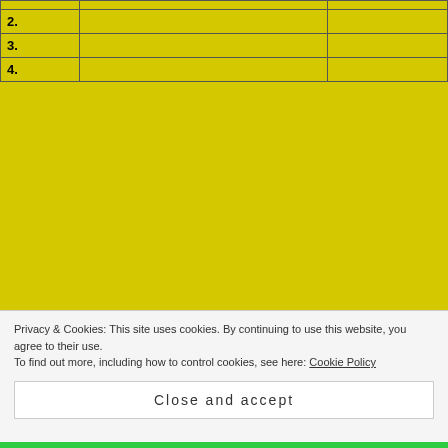|  |  |  |
| --- | --- | --- |
|  |  |  |
| 2. |  |  |
| 3. |  |  |
| 4. |  |  |
Privacy & Cookies: This site uses cookies. By continuing to use this website, you agree to their use.
To find out more, including how to control cookies, see here: Cookie Policy
Close and accept